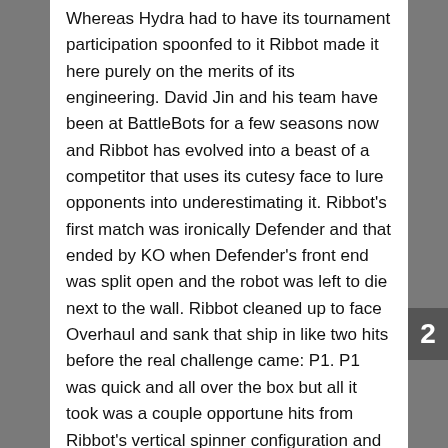Whereas Hydra had to have its tournament participation spoonfed to it Ribbot made it here purely on the merits of its engineering. David Jin and his team have been at BattleBots for a few seasons now and Ribbot has evolved into a beast of a competitor that uses its cutesy face to lure opponents into underestimating it. Ribbot's first match was ironically Defender and that ended by KO when Defender's front end was split open and the robot was left to die next to the wall. Ribbot cleaned up to face Overhaul and sank that ship in like two hits before the real challenge came: P1. P1 was quick and all over the box but all it took was a couple opportune hits from Ribbot's vertical spinner configuration and P1 was as good as dead being thrown at the BattleBots sign on the Upper Deck.
[Figure (photo): Dark arena photo of BattleBots fight, showing robots under arena lighting with green and red highlights visible.]
Ribbot hol